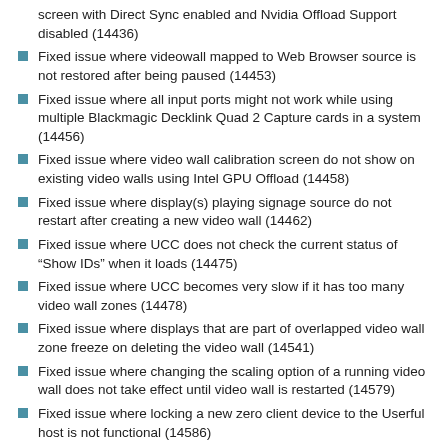screen with Direct Sync enabled and Nvidia Offload Support disabled (14436)
Fixed issue where videowall mapped to Web Browser source is not restored after being paused (14453)
Fixed issue where all input ports might not work while using multiple Blackmagic Decklink Quad 2 Capture cards in a system (14456)
Fixed issue where video wall calibration screen do not show on existing video walls using Intel GPU Offload (14458)
Fixed issue where display(s) playing signage source do not restart after creating a new video wall (14462)
Fixed issue where UCC does not check the current status of “Show IDs” when it loads (14475)
Fixed issue where UCC becomes very slow if it has too many video wall zones (14478)
Fixed issue where displays that are part of overlapped video wall zone freeze on deleting the video wall (14541)
Fixed issue where changing the scaling option of a running video wall does not take effect until video wall is restarted (14579)
Fixed issue where locking a new zero client device to the Userful host is not functional (14586)
Fixed issue where restarting first played overlapped video wall zone mapped to signage player does not play proper content on the displays (14609)